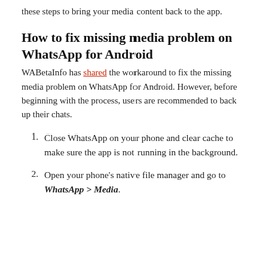these steps to bring your media content back to the app.
How to fix missing media problem on WhatsApp for Android
WABetaInfo has shared the workaround to fix the missing media problem on WhatsApp for Android. However, before beginning with the process, users are recommended to back up their chats.
Close WhatsApp on your phone and clear cache to make sure the app is not running in the background.
Open your phone's native file manager and go to WhatsApp > Media.